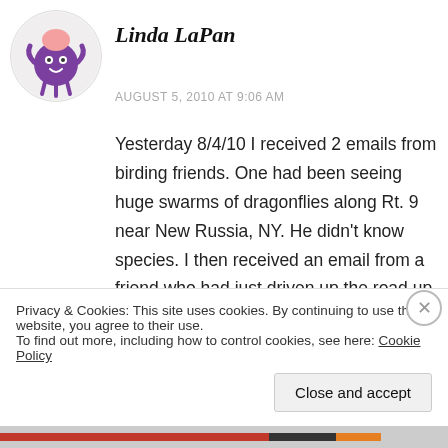[Figure (illustration): Circular avatar showing a purple cartoon octopus-like character with small head and legs on a light background]
Linda LaPan
AUGUST 5, 2010 AT 9:06 AM
Yesterday 8/4/10 I received 2 emails from birding friends. One had been seeing huge swarms of dragonflies along Rt. 9 near New Russia, NY. He didn't know species. I then received an email from a friend who had just driven up the road up Whiteface Mountain in Wilmington, NY, and from 11 am – 1 pm there were thousands of dragonflies. Cars were
Privacy & Cookies: This site uses cookies. By continuing to use this website, you agree to their use.
To find out more, including how to control cookies, see here: Cookie Policy
Close and accept